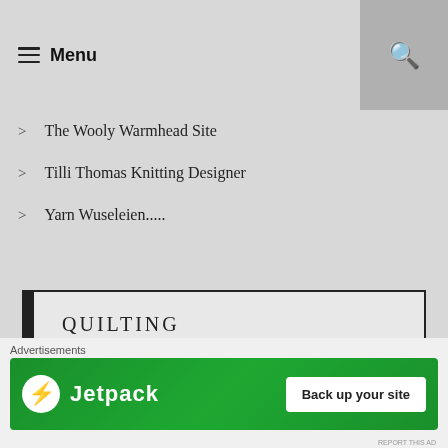Menu
The Wooly Warmhead Site
Tilli Thomas Knitting Designer
Yarn Wuseleien.....
QUILTING
Divas Quilt Studio -Ursula Weller
[Figure (infographic): Jetpack advertisement banner with logo and 'Back up your site' call-to-action button]
Advertisements